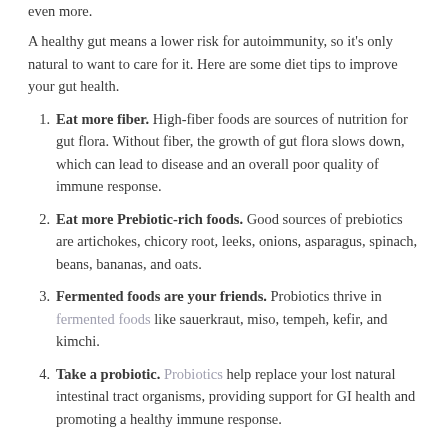even more.
A healthy gut means a lower risk for autoimmunity, so it’s only natural to want to care for it. Here are some diet tips to improve your gut health.
Eat more fiber. High-fiber foods are sources of nutrition for gut flora. Without fiber, the growth of gut flora slows down, which can lead to disease and an overall poor quality of immune response.
Eat more Prebiotic-rich foods. Good sources of prebiotics are artichokes, chicory root, leeks, onions, asparagus, spinach, beans, bananas, and oats.
Fermented foods are your friends. Probiotics thrive in fermented foods like sauerkraut, miso, tempeh, kefir, and kimchi.
Take a probiotic. Probiotics help replace your lost natural intestinal tract organisms, providing support for GI health and promoting a healthy immune response.